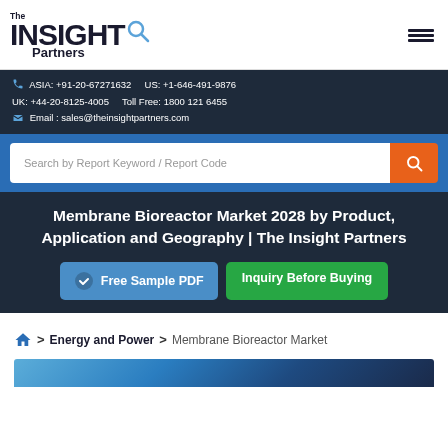[Figure (logo): The Insight Partners logo with magnifying glass icon]
ASIA: +91-20-67271632   US: +1-646-491-9876
UK: +44-20-8125-4005   Toll Free: 1800 121 6455
Email : sales@theinsightpartners.com
Search by Report Keyword / Report Code
Membrane Bioreactor Market 2028 by Product, Application and Geography | The Insight Partners
Free Sample PDF
Inquiry Before Buying
Home > Energy and Power > Membrane Bioreactor Market
[Figure (photo): Partial blue-toned image at bottom of page]